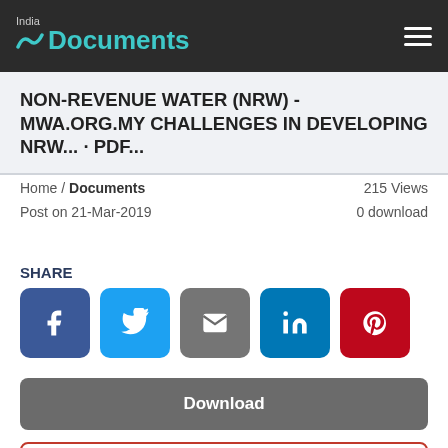India Documents
NON-REVENUE WATER (NRW) - MWA.ORG.MY CHALLENGES IN DEVELOPING NRW... · PDF...
Home / Documents   215 Views
Post on 21-Mar-2019   0 download
SHARE
[Figure (infographic): Social share buttons: Facebook, Twitter, Email, LinkedIn, Pinterest]
Download
Report this document